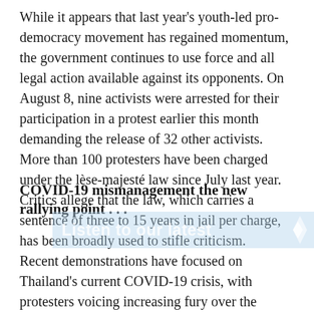While it appears that last year's youth-led pro-democracy movement has regained momentum, the government continues to use force and all legal action available against its opponents. On August 8, nine activists were arrested for their participation in a protest earlier this month demanding the release of 32 other activists. More than 100 protesters have been charged under the lèse-majesté law since July last year. Critics allege that the law, which carries a sentence of three to 15 years in jail per charge, has been broadly used to stifle criticism.
COVID-19 mismanagement the new rallying point . . .
[Figure (other): Light blue semi-transparent banner overlay with white bold text reading 'Listen to our latest podcast series' with a starburst/sparkle icon on the right side.]
Recent demonstrations have focused on Thailand's current COVID-19 crisis, with protesters voicing increasing fury over the government's poor handling of the surge in the Delta variant, lack of transparency in vaccine rollouts, and